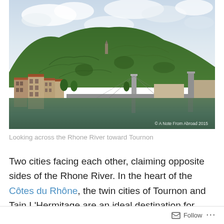[Figure (photo): Landscape photo looking across the Rhone River toward Tournon, showing a green hillside with vineyards, historic buildings with orange-red roofs along the riverbank, a suspension bridge pylon, and calm green water in the foreground. Watermark reads '© A Note From Abroad 2015'.]
Looking across the Rhone River toward Tournon
Two cities facing each other, claiming opposite sides of the Rhone River. In the heart of the Côtes du Rhône, the twin cities of Tournon and Tain L'Hermitage are an ideal destination for connoisseurs of fine wine.
Follow ···